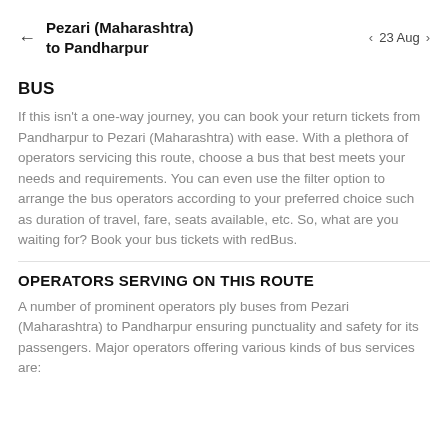Pezari (Maharashtra) to Pandharpur   23 Aug
BUS
If this isn't a one-way journey, you can book your return tickets from Pandharpur to Pezari (Maharashtra) with ease. With a plethora of operators servicing this route, choose a bus that best meets your needs and requirements. You can even use the filter option to arrange the bus operators according to your preferred choice such as duration of travel, fare, seats available, etc. So, what are you waiting for? Book your bus tickets with redBus.
OPERATORS SERVING ON THIS ROUTE
A number of prominent operators ply buses from Pezari (Maharashtra) to Pandharpur ensuring punctuality and safety for its passengers. Major operators offering various kinds of bus services are: